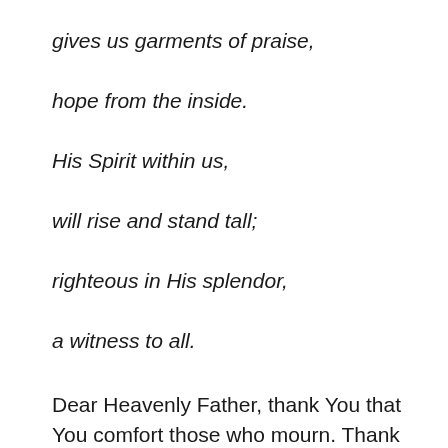gives us garments of praise,
hope from the inside.
His Spirit within us,
will rise and stand tall;
righteous in His splendor,
a witness to all.
Dear Heavenly Father, thank You that You comfort those who mourn. Thank You that You bestow beauty for ashes and give hope in